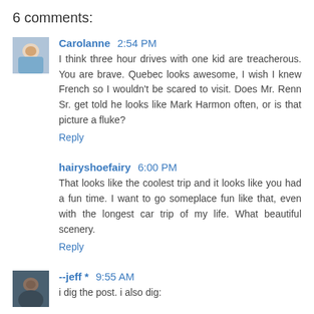6 comments:
Carolanne 2:54 PM
I think three hour drives with one kid are treacherous. You are brave. Quebec looks awesome, I wish I knew French so I wouldn't be scared to visit. Does Mr. Renn Sr. get told he looks like Mark Harmon often, or is that picture a fluke?
Reply
hairyshoefairy 6:00 PM
That looks like the coolest trip and it looks like you had a fun time. I want to go someplace fun like that, even with the longest car trip of my life. What beautiful scenery.
Reply
--jeff * 9:55 AM
i dig the post. i also dig: